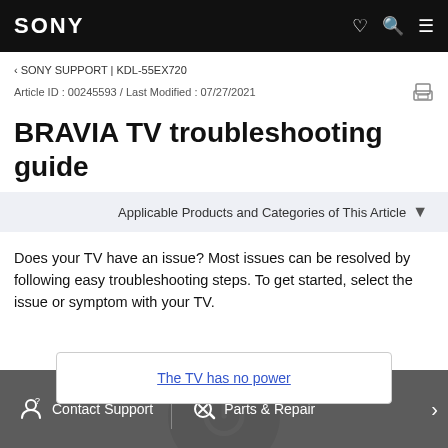SONY
‹ SONY SUPPORT | KDL-55EX720
Article ID : 00245593 / Last Modified : 07/27/2021
BRAVIA TV troubleshooting guide
Applicable Products and Categories of This Article
Does your TV have an issue? Most issues can be resolved by following easy troubleshooting steps. To get started, select the issue or symptom with your TV.
The TV has no power
Contact Support   Parts & Repair